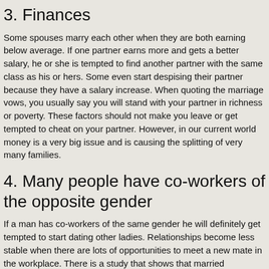3. Finances
Some spouses marry each other when they are both earning below average. If one partner earns more and gets a better salary, he or she is tempted to find another partner with the same class as his or hers. Some even start despising their partner because they have a salary increase. When quoting the marriage vows, you usually say you will stand with your partner in richness or poverty. These factors should not make you leave or get tempted to cheat on your partner. However, in our current world money is a very big issue and is causing the splitting of very many families.
4. Many people have co-workers of the opposite gender
If a man has co-workers of the same gender he will definitely get tempted to start dating other ladies. Relationships become less stable when there are lots of opportunities to meet a new mate in the workplace. There is a study that shows that married individuals have a higher risk of divorce when the ‘adult sex ratios’ of their office present